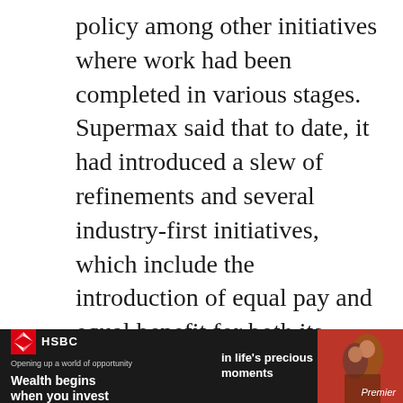policy among other initiatives where work had been completed in various stages.
Supermax said that to date, it had introduced a slew of refinements and several industry-first initiatives, which include the introduction of equal pay and equal benefit for both its local and foreign workers, as well as a hybrid HR management approach for on-site vendors, removed cut-off periods for ex-worker remediation and implemented a higher-than-then statutory minimum
[Figure (other): HSBC Premier advertisement banner. Text reads 'Wealth begins when you invest' and 'in life's precious moments' with HSBC logo and 'Premier' label. Dark background with a photo of people on the right side.]